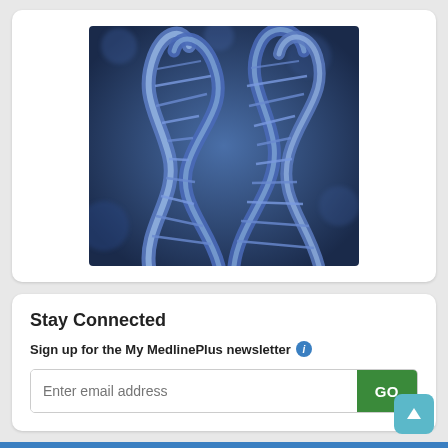[Figure (illustration): Close-up 3D illustration of a blue DNA double helix structure against a blurred blue background]
Stay Connected
Sign up for the My MedlinePlus newsletter (i)